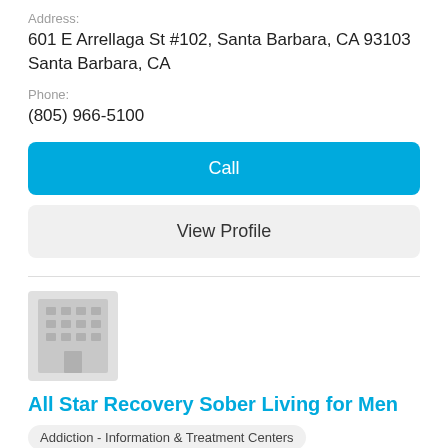Address:
601 E Arrellaga St #102, Santa Barbara, CA 93103 Santa Barbara, CA
Phone:
(805) 966-5100
Call
View Profile
[Figure (illustration): Generic building/office icon placeholder image, gray square with grid of windows]
All Star Recovery Sober Living for Men
Addiction - Information & Treatment Centers
Address:
5018 Calle Real Santa Barbara, CA
Phone: